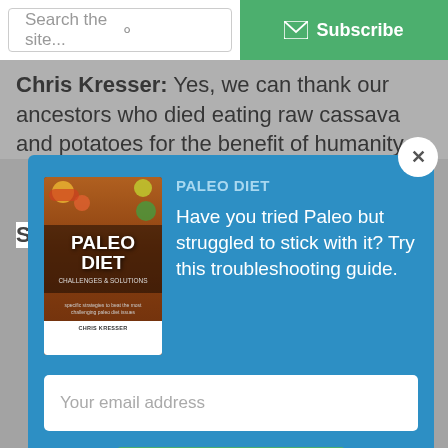[Figure (screenshot): Website top navigation bar with search box and green Subscribe button with envelope icon]
Chris Kresser: Yes, we can thank our ancestors who died eating raw cassava and potatoes for the benefit of humanity.
[Figure (infographic): Modal popup on blue background featuring a Paleo Diet book cover image, title 'PALEO DIET', description text, email input, and Download Now button]
PALEO DIET
Have you tried Paleo but struggled to stick with it? Try this troubleshooting guide.
Your email address
Download Now